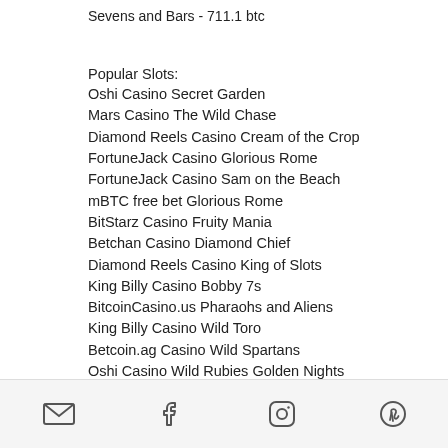Sevens and Bars - 711.1 btc
Popular Slots:
Oshi Casino Secret Garden
Mars Casino The Wild Chase
Diamond Reels Casino Cream of the Crop
FortuneJack Casino Glorious Rome
FortuneJack Casino Sam on the Beach
mBTC free bet Glorious Rome
BitStarz Casino Fruity Mania
Betchan Casino Diamond Chief
Diamond Reels Casino King of Slots
King Billy Casino Bobby 7s
BitcoinCasino.us Pharaohs and Aliens
King Billy Casino Wild Toro
Betcoin.ag Casino Wild Spartans
Oshi Casino Wild Rubies Golden Nights
CryptoGames Nutcracker
email | facebook | instagram | pinterest